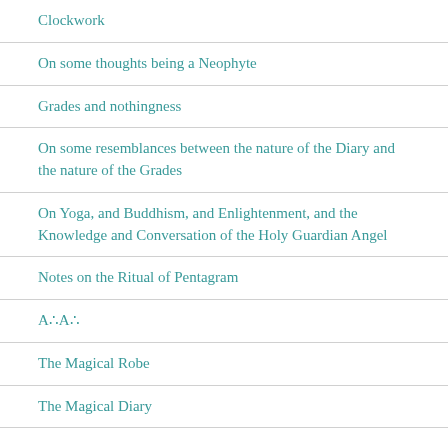Clockwork
On some thoughts being a Neophyte
Grades and nothingness
On some resemblances between the nature of the Diary and the nature of the Grades
On Yoga, and Buddhism, and Enlightenment, and the Knowledge and Conversation of the Holy Guardian Angel
Notes on the Ritual of Pentagram
A∴A∴
The Magical Robe
The Magical Diary